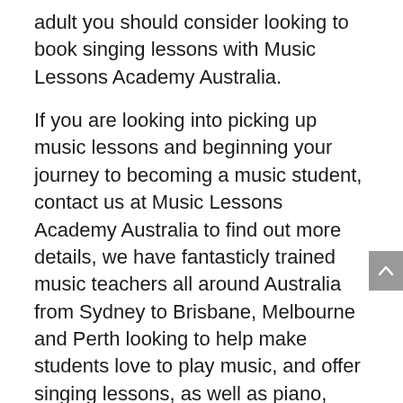adult you should consider looking to book singing lessons with Music Lessons Academy Australia.
If you are looking into picking up music lessons and beginning your journey to becoming a music student, contact us at Music Lessons Academy Australia to find out more details, we have fantasticly trained music teachers all around Australia from Sydney to Brisbane, Melbourne and Perth looking to help make students love to play music, and offer singing lessons, as well as piano, violin, guitar and other instruments. We provide private in-home lessons or offer online lessons which are especially useful in covid lockdowns when you want to continue learning how to sing.